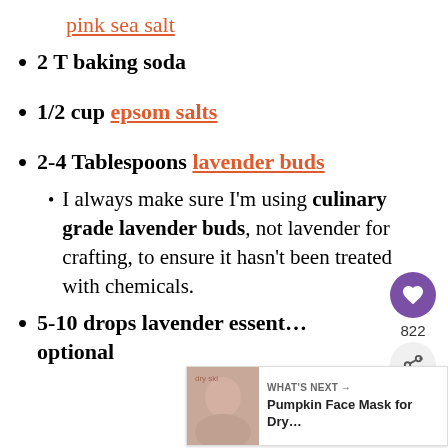pink sea salt
2 T baking soda
1/2 cup epsom salts
2-4 Tablespoons lavender buds
I always make sure I'm using culinary grade lavender buds, not lavender for crafting, to ensure it hasn't been treated with chemicals.
5-10 drops lavender essential oil, optional